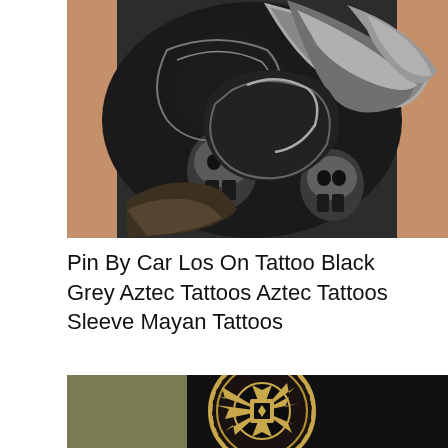[Figure (photo): A black and grey Aztec/Mayan style tattoo covering the back and torso area of a person, featuring skulls, serpents, and intricate tribal patterns with detailed shading.]
Pin By Car Los On Tattoo Black Grey Aztec Tattoos Aztec Tattoos Sleeve Mayan Tattoos
[Figure (photo): A close-up of an Aztec calendar / sun stone tattoo on someone's arm or sleeve, done in black ink with gold/white detailed geometric and symbolic patterns.]